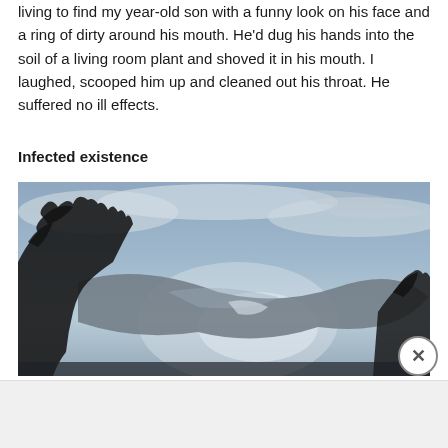living to find my year-old son with a funny look on his face and a ring of dirty around his mouth. He'd dug his hands into the soil of a living room plant and shoved it in his mouth. I laughed, scooped him up and cleaned out his throat. He suffered no ill effects.
Infected existence
[Figure (photo): Photograph of a dramatic sky with dark and light clouds, with silhouettes of trees visible on the left and right edges.]
Advertisements